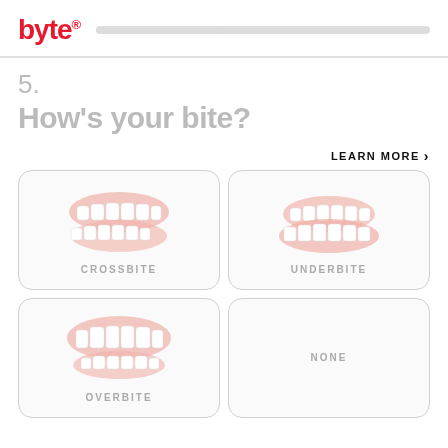byte
5.
How's your bite?
LEARN MORE >
[Figure (illustration): Four dental bite option cards in a 2x2 grid: Crossbite (upper teeth shifted sideways), Underbite (lower jaw protrudes), Overbite (upper teeth overlap lower), and None (no illustration). Each card shows a stylized teeth illustration in pinkish/red tones with white teeth and a label below.]